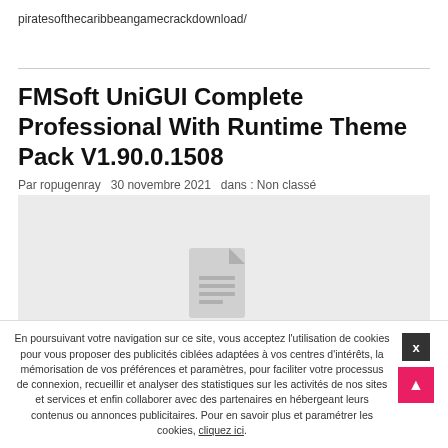piratesofthecaribbeangamecrackdownload/
FMSoft UniGUI Complete Professional With Runtime Theme Pack V1.90.0.1508
Par ropugenray   30 novembre 2021   dans : Non classé
[Figure (other): Gray placeholder image with a document icon in the center]
En poursuivant votre navigation sur ce site, vous acceptez l'utilisation de cookies pour vous proposer des publicités ciblées adaptées à vos centres d'intérêts, la mémorisation de vos préférences et paramètres, pour faciliter votre processus de connexion, recueillir et analyser des statistiques sur les activités de nos sites et services et enfin collaborer avec des partenaires en hébergeant leurs contenus ou annonces publicitaires. Pour en savoir plus et paramétrer les cookies, cliquez ici.